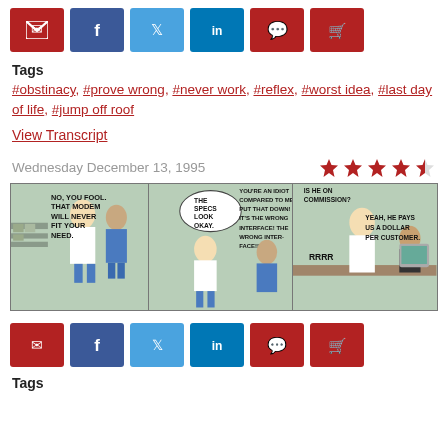[Figure (infographic): Social sharing buttons row: email (red), facebook (dark blue), twitter (light blue), linkedin (blue), comments (red), cart (red)]
Tags
#obstinacy, #prove wrong, #never work, #reflex, #worst idea, #last day of life, #jump off roof
View Transcript
Wednesday December 13, 1995
[Figure (illustration): Dilbert comic strip with 3 panels. Panel 1: Dilbert character says NO, YOU FOOL. THAT MODEM WILL NEVER FIT YOUR NEED. Panel 2: Character with thought bubble THE SPECS LOOK OKAY says YOU'RE AN IDIOT COMPARED TO ME! PUT THAT DOWN! IT'S THE WRONG INTERFACE! THE WRONG INTER-FACE!!! Panel 3: Characters at desk, one says IS HE ON COMMISSION? Other says YEAH, HE PAYS US A DOLLAR PER CUSTOMER. Sound effect: RRRR]
[Figure (infographic): Social sharing buttons row: email (red), facebook (dark blue), twitter (light blue), linkedin (blue), comments (red), cart (red)]
Tags